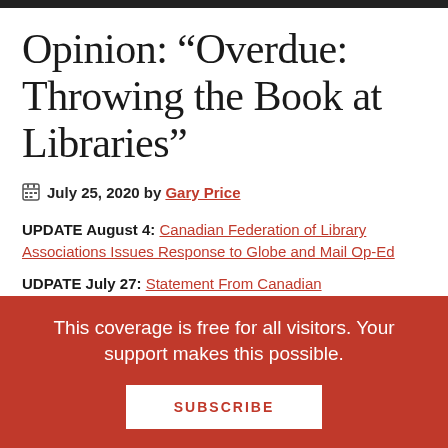Opinion: “Overdue: Throwing the Book at Libraries”
July 25, 2020 by Gary Price
UPDATE August 4: Canadian Federation of Library Associations Issues Response to Globe and Mail Op-Ed
UDPATE July 27: Statement From Canadian
This coverage is free for all visitors. Your support makes this possible.
SUBSCRIBE